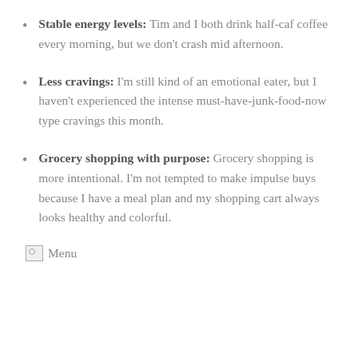Stable energy levels: Tim and I both drink half-caf coffee every morning, but we don't crash mid afternoon.
Less cravings: I'm still kind of an emotional eater, but I haven't experienced the intense must-have-junk-food-now type cravings this month.
Grocery shopping with purpose: Grocery shopping is more intentional. I'm not tempted to make impulse buys because I have a meal plan and my shopping cart always looks healthy and colorful.
[Figure (other): Broken image placeholder labeled 'Menu']